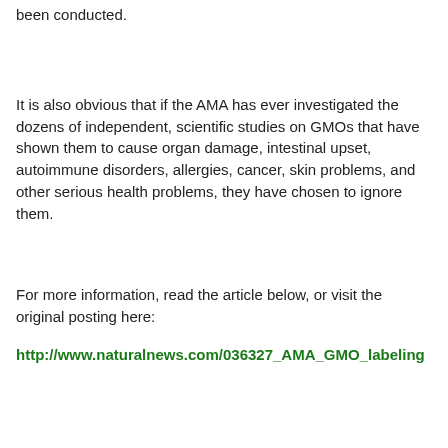been conducted.
It is also obvious that if the AMA has ever investigated the dozens of independent, scientific studies on GMOs that have shown them to cause organ damage, intestinal upset, autoimmune disorders, allergies, cancer, skin problems, and other serious health problems, they have chosen to ignore them.
For more information, read the article below, or visit the original posting here:
http://www.naturalnews.com/036327_AMA_GMO_labeling